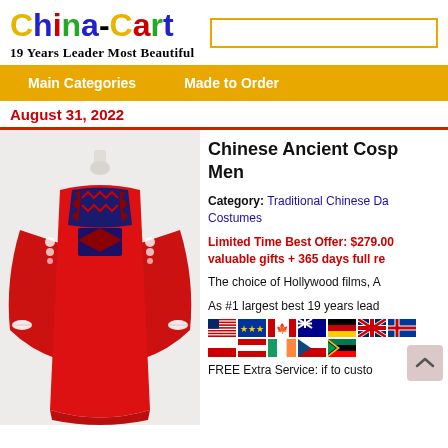China-Cart
19 Years Leader Most Beautiful
Main Categories   Made to Order
August 31, 2022
[Figure (photo): Red Chinese ancient costume robe on a mannequin, with decorative collar/sash in dark blue and red zigzag pattern, with white decorative elements at shoulders and cuffs]
Chinese Ancient Cosp Men
Category: Traditional Chinese Da Costumes
Limited Time Best Offer: $279.00 valuable gifts + 365 days full re
The choice of Hollywood films, A
As #1 largest best 19 years lead
[Figure (illustration): Row of international country flags including US, EU, Canada, Australia, Germany, UK, Iceland, Poland, Austria, Ireland, Czech Republic, South Africa]
FREE Extra Service: if to custo